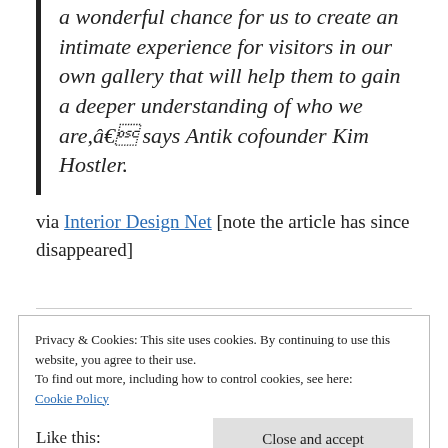a wonderful chance for us to create an intimate experience for visitors in our own gallery that will help them to gain a deeper understanding of who we are,â€ says Antik cofounder Kim Hostler.
via Interior Design Net [note the article has since disappeared]
Privacy & Cookies: This site uses cookies. By continuing to use this website, you agree to their use.
To find out more, including how to control cookies, see here: Cookie Policy
Close and accept
Like this: